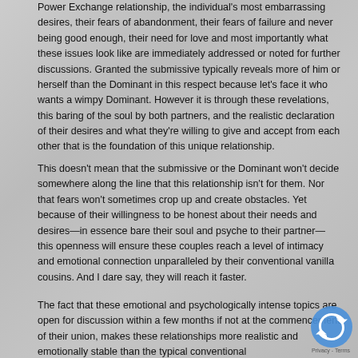Power Exchange relationship, the individual's most embarrassing desires, their fears of abandonment, their fears of failure and never being good enough, their need for love and most importantly what these issues look like are immediately addressed or noted for further discussions. Granted the submissive typically reveals more of him or herself than the Dominant in this respect because let's face it who wants a wimpy Dominant. However it is through these revelations, this baring of the soul by both partners, and the realistic declaration of their desires and what they're willing to give and accept from each other that is the foundation of this unique relationship.
This doesn't mean that the submissive or the Dominant won't decide somewhere along the line that this relationship isn't for them. Nor that fears won't sometimes crop up and create obstacles. Yet because of their willingness to be honest about their needs and desires—in essence bare their soul and psyche to their partner—this openness will ensure these couples reach a level of intimacy and emotional connection unparalleled by their conventional vanilla cousins. And I dare say, they will reach it faster.
The fact that these emotional and psychologically intense topics are open for discussion within a few months if not at the commencement of their union, makes these relationships more realistic and emotionally stable than the typical conventional relationships because they are which by kind of symbiotic